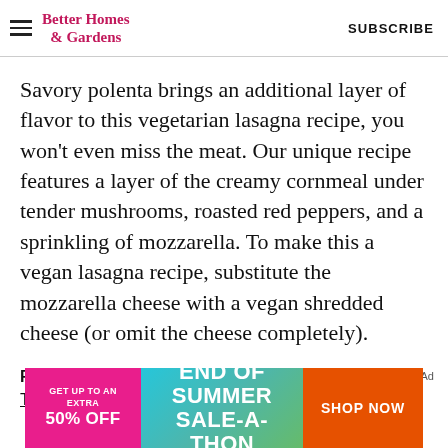Better Homes & Gardens   SUBSCRIBE
Savory polenta brings an additional layer of flavor to this vegetarian lasagna recipe, you won't even miss the meat. Our unique recipe features a layer of the creamy cornmeal under tender mushrooms, roasted red peppers, and a sprinkling of mozzarella. To make this a vegan lasagna recipe, substitute the mozzarella cheese with a vegan shredded cheese (or omit the cheese completely).
RELATED: Quick and Easy Vegetarian Dinners to Try Tonight
[Figure (infographic): Advertisement banner: pink left panel reading 'GET UP TO AN EXTRA 50% OFF', teal/green center reading 'END OF SUMMER SALE-A-THON', orange right button reading 'SHOP NOW']